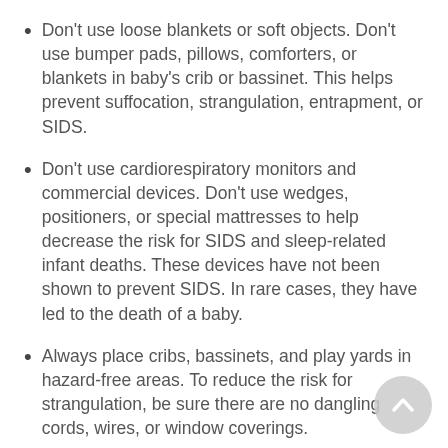Don't use loose blankets or soft objects. Don't use bumper pads, pillows, comforters, or blankets in baby's crib or bassinet. This helps prevent suffocation, strangulation, entrapment, or SIDS.
Don't use cardiorespiratory monitors and commercial devices. Don't use wedges, positioners, or special mattresses to help decrease the risk for SIDS and sleep-related infant deaths. These devices have not been shown to prevent SIDS. In rare cases, they have led to the death of a baby.
Always place cribs, bassinets, and play yards in hazard-free areas. To reduce the risk for strangulation, be sure there are no dangling cords, wires, or window coverings.